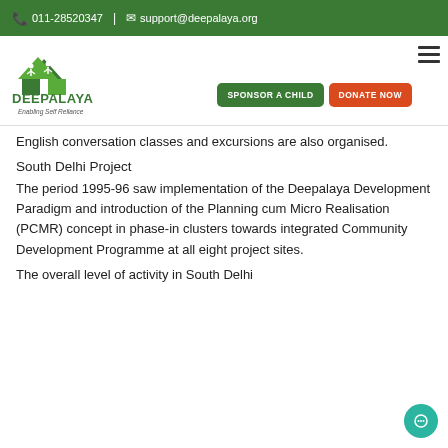011-28520347 | support@deepalaya.org
[Figure (logo): Deepalaya logo with green triangular house shapes, people icons, green text reading DEEPALAYA and tagline Enabling Self Reliance]
English conversation classes and excursions are also organised.
South Delhi Project
The period 1995-96 saw implementation of the Deepalaya Development Paradigm and introduction of the Planning cum Micro Realisation (PCMR) concept in phase-in clusters towards integrated Community Development Programme at all eight project sites.
The overall level of activity in South Delhi